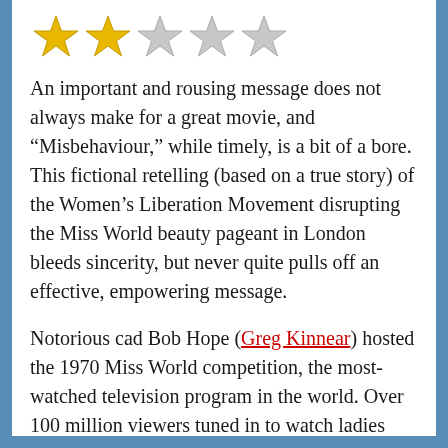[Figure (other): Star rating: 2 out of 5 stars (2 gold stars, 3 silver/grey stars)]
An important and rousing message does not always make for a great movie, and “Misbehaviour,” while timely, is a bit of a bore. This fictional retelling (based on a true story) of the Women’s Liberation Movement disrupting the Miss World beauty pageant in London bleeds sincerity, but never quite pulls off an effective, empowering message.
Notorious cad Bob Hope (Greg Kinnear) hosted the 1970 Miss World competition, the most-watched television program in the world. Over 100 million viewers tuned in to watch ladies from around the globe put their bodies on display by